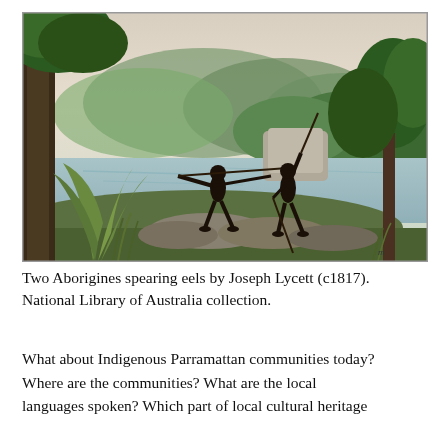[Figure (illustration): Watercolour painting 'Two Aborigines spearing eels' by Joseph Lycett (c1817). Shows two silhouetted Aboriginal figures standing on rocks by a river, each holding long spears. Lush Australian landscape with trees, water, mountains and rock formations in the background.]
Two Aborigines spearing eels by Joseph Lycett (c1817). National Library of Australia collection.
What about Indigenous Parramattan communities today? Where are the communities? What are the local languages spoken? Which part of local cultural heritage